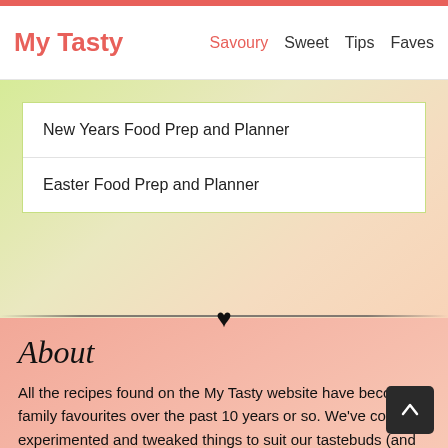My Tasty — Savoury | Sweet | Tips | Faves
New Years Food Prep and Planner
Easter Food Prep and Planner
About
All the recipes found on the My Tasty website have become family favourites over the past 10 years or so. We've collated, experimented and tweaked things to suit our tastebuds (and our temperamental oven), and now we share our culinary trials with